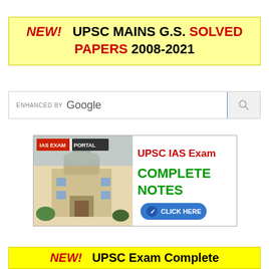NEW! UPSC MAINS G.S. SOLVED PAPERS 2008-2021
[Figure (screenshot): Google enhanced search bar with search button on right]
[Figure (illustration): IAS EXAM PORTAL advertisement banner showing a building image on the left, and text 'UPSC IAS Exam COMPLETE NOTES CLICK HERE' on the right with a blue click-here button]
NEW! UPSC Exam Complete